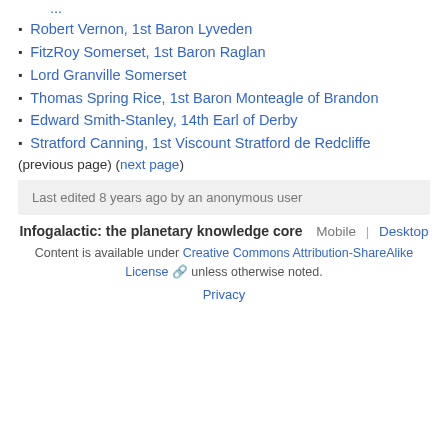Robert Vernon, 1st Baron Lyveden
FitzRoy Somerset, 1st Baron Raglan
Lord Granville Somerset
Thomas Spring Rice, 1st Baron Monteagle of Brandon
Edward Smith-Stanley, 14th Earl of Derby
Stratford Canning, 1st Viscount Stratford de Redcliffe
(previous page) (next page)
Last edited 8 years ago by an anonymous user
Infogalactic: the planetary knowledge core   Mobile | Desktop
Content is available under Creative Commons Attribution-ShareAlike License unless otherwise noted.
Privacy